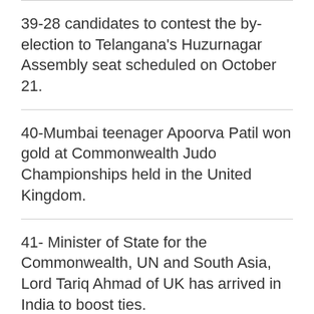39-28 candidates to contest the by-election to Telangana's Huzurnagar Assembly seat scheduled on October 21.
40-Mumbai teenager Apoorva Patil won gold at Commonwealth Judo Championships held in the United Kingdom.
41- Minister of State for the Commonwealth, UN and South Asia, Lord Tariq Ahmad of UK has arrived in India to boost ties.